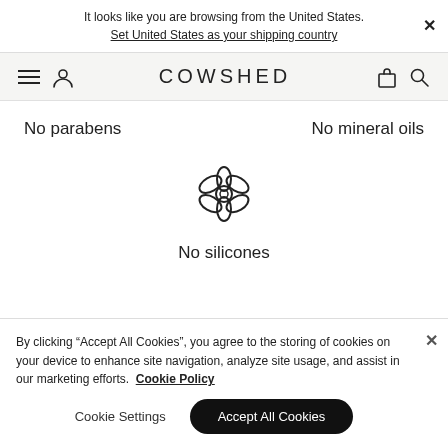It looks like you are browsing from the United States. Set United States as your shipping country
COWSHED
No parabens
No mineral oils
[Figure (illustration): Flower/daisy icon outline]
No silicones
By clicking “Accept All Cookies”, you agree to the storing of cookies on your device to enhance site navigation, analyze site usage, and assist in our marketing efforts. Cookie Policy
Cookie Settings
Accept All Cookies